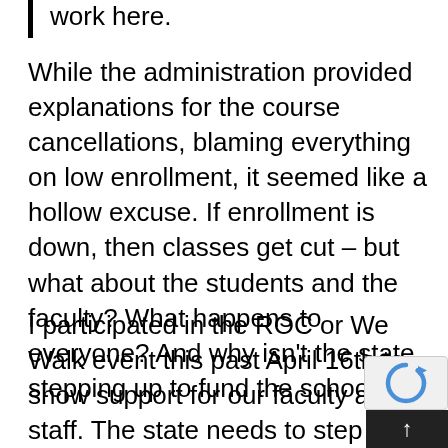work here.
While the administration provided explanations for the course cancellations, blaming everything on low enrollment, it seemed like a hollow excuse. If enrollment is down, then classes get cut – but what about the students and the faculty? What happens to everyone? And why isn't the state stepping up to fund the school?
I participated in the ROC or We Walk event this past April 16th to show support for our faculty and staff. The state needs to step up and adequately fund the school so th we can all continue to receive a quality